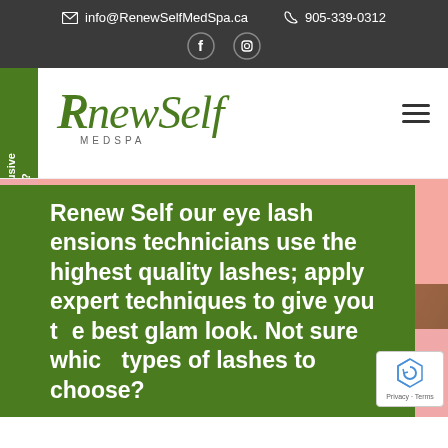info@RenewSelfMedSpa.ca  905-339-0312
[Figure (logo): Renew Self MedSpa logo with green cursive script and MEDSPA in small caps]
Want Exclusive Offers?
[Figure (photo): Close-up photo of eye with lash extensions on pink/peach background]
Renew Self our eye lash ensions technicians use the highest quality lashes; apply expert techniques to give you the best glam look. Not sure which types of lashes to choose?